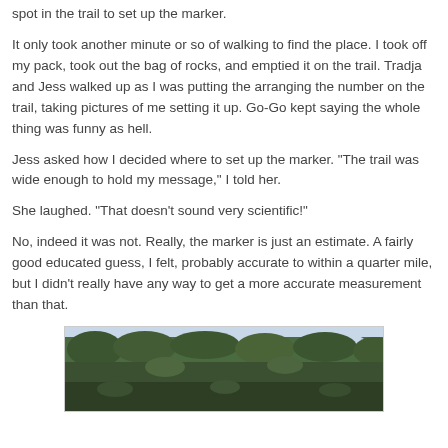spot in the trail to set up the marker.
It only took another minute or so of walking to find the place. I took off my pack, took out the bag of rocks, and emptied it on the trail. Tradja and Jess walked up as I was putting the arranging the number on the trail, taking pictures of me setting it up. Go-Go kept saying the whole thing was funny as hell.
Jess asked how I decided where to set up the marker. "The trail was wide enough to hold my message," I told her.
She laughed. "That doesn't sound very scientific!"
No, indeed it was not. Really, the marker is just an estimate. A fairly good educated guess, I felt, probably accurate to within a quarter mile, but I didn't really have any way to get a more accurate measurement than that.
[Figure (photo): Outdoor trail scene with trees and sky visible]